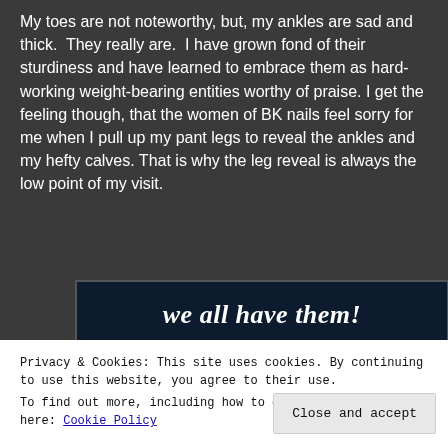My toes are not noteworthy, but, my ankles are sad and thick.  They really are.  I have grown fond of their sturdiness and have learned to embrace them as hard-working weight-bearing entities worthy of praise. I get the feeling though, that the women of BK nails feel sorry for me when I pull up my pant legs to reveal the ankles and my hefty calves. That is why the leg reveal is always the low point of my visit.
[Figure (screenshot): Dark navy blue banner with white bold italic text reading 'we all have them!' with a pink button and a grey circle partially visible at the bottom.]
Privacy & Cookies: This site uses cookies. By continuing to use this website, you agree to their use.
To find out more, including how to control cookies, see here: Cookie Policy